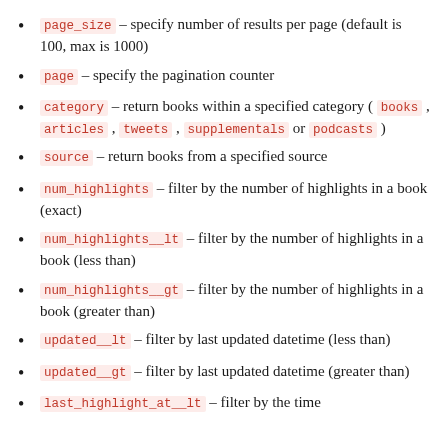page_size – specify number of results per page (default is 100, max is 1000)
page – specify the pagination counter
category – return books within a specified category ( books , articles , tweets , supplementals or podcasts )
source – return books from a specified source
num_highlights – filter by the number of highlights in a book (exact)
num_highlights__lt – filter by the number of highlights in a book (less than)
num_highlights__gt – filter by the number of highlights in a book (greater than)
updated__lt – filter by last updated datetime (less than)
updated__gt – filter by last updated datetime (greater than)
last_highlight_at__lt – filter by the time